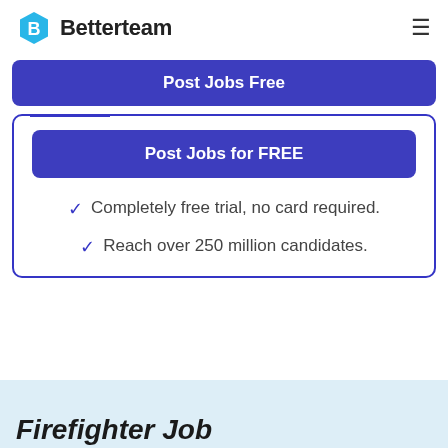[Figure (logo): Betterteam logo with blue hexagon icon and bold text]
Post Jobs Free
Post Jobs for FREE
Completely free trial, no card required.
Reach over 250 million candidates.
Firefighter Job